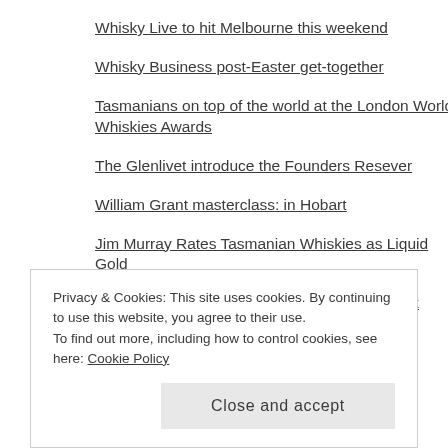Whisky Live to hit Melbourne this weekend
Whisky Business post-Easter get-together
Tasmanians on top of the world at the London World Whiskies Awards
The Glenlivet introduce the Founders Resever
William Grant masterclass: in Hobart
Jim Murray Rates Tasmanian Whiskies as Liquid Gold
Whisky Waffle announce: Johnny Walker Week
Jim Murray's Whisky Bible 2015
Inaugural young whisky enthusiasts event
Privacy & Cookies: This site uses cookies. By continuing to use this website, you agree to their use.
To find out more, including how to control cookies, see here: Cookie Policy
Close and accept